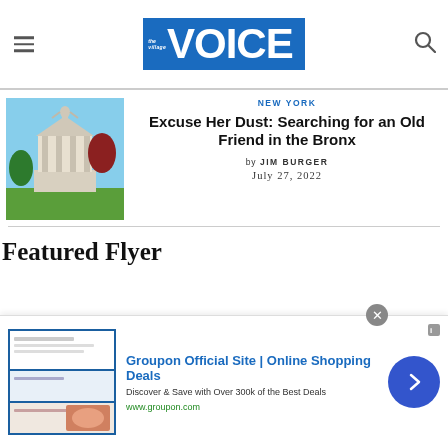The Village Voice
NEW YORK
Excuse Her Dust: Searching for an Old Friend in the Bronx
by JIM BURGER
July 27, 2022
Featured Flyer
[Figure (photo): Outdoor monument with classical architecture and sculpture, blue sky background]
[Figure (screenshot): Groupon advertisement banner: Groupon Official Site | Online Shopping Deals. Discover & Save with Over 300k of the Best Deals. www.groupon.com]